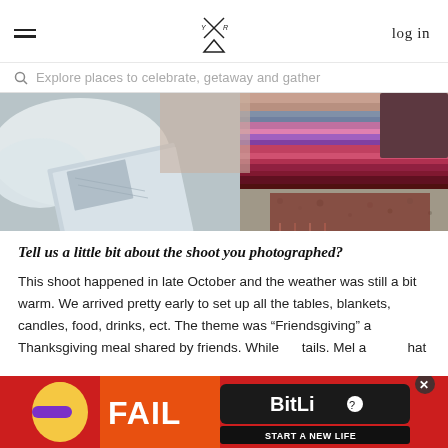log in
Explore places to celebrate, getaway and gather
[Figure (photo): Overhead photo of flatlay scene with blankets, books/cards, and colorful striped textiles on gravel]
Tell us a little bit about the shoot you photographed?
This shoot happened in late October and the weather was still a bit warm. We arrived pretty early to set up all the tables, blankets, candles, food, drinks, ect. The theme was "Friendsgiving" a Thanksgiving meal shared by friends. While... details. Mel a... hat
[Figure (screenshot): Advertisement overlay: BitLife 'Start a New Life' mobile game ad with animated character and fail text, with close button]